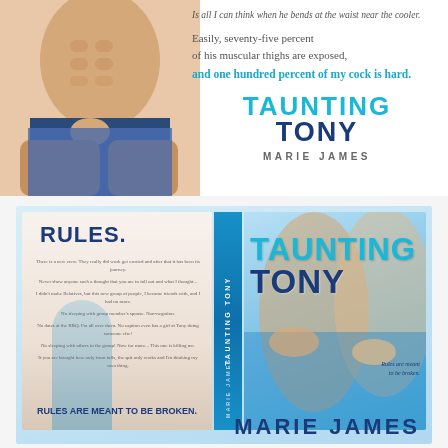[Figure (illustration): Top promotional banner for 'Taunting Tony' by Marie James. Shows a male torso on the left side with text overlay on the right: 'Is all I can think when he bends at the waist near the cooler. Easily, seventy-five percent of his muscular thighs are exposed, and one hundred percent of my cock is hard.' followed by the book title 'TAUNTING TONY' and author name 'MARIE JAMES'.]
[Figure (illustration): Full book cover spread for 'Taunting Tony' by Marie James showing back cover with 'RULES.' heading and rules list ending in 'RULES ARE MEANT TO BE BROKEN.', spine with 'TAUNTING TONY' and 'MARIE JAMES', and front cover with male torsos and the title 'TAUNTING TONY' in teal/navy colors. Bottom shows 'MARIE JAMES' in large navy letters.]